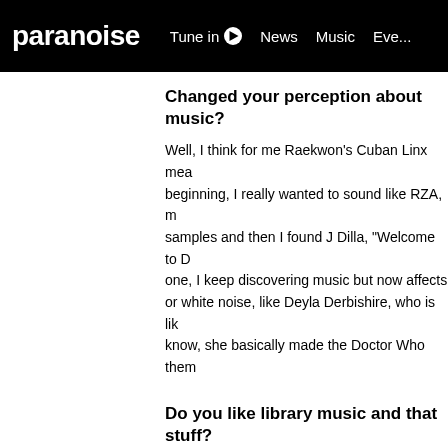paranoise | Tune in | News | Music | Eve...
Changed your perception about music?
Well, I think for me Raekwon's Cuban Linx mea... beginning, I really wanted to sound like RZA, m... samples and then I found J Dilla, "Welcome to D... one, I keep discovering music but now affects... or white noise, like Deyla Derbishire, who is lik... know, she basically made the Doctor Who them...
Do you like library music and that stuff?
Yeah exactly. It's really interesting you know, lik... there, I've listened to everything that's out the... expand my mind, even if it sounds kind of stra... something to it, like what they did with the inst... cool synthesizers which are too expensive to a... that you can use that and incorporate it to your...
J Dilla used a lot of samples of Raymont S... equivalent of the BBC Radiofonic Worksh...
Yeah. Dilla used a lot of very interesting sampl...